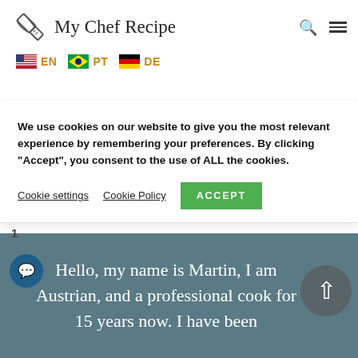My Chef Recipe  EN  PT  DE
[Figure (photo): Partial photo of a chef's face visible at top center of page]
We use cookies on our website to give you the most relevant experience by remembering your preferences. By clicking "Accept", you consent to the use of ALL the cookies.
Cookie settings  Cookie Policy  ACCEPT
Hello, my name is Martin, I am Austrian, and a professional cook for 15 years now. I have been